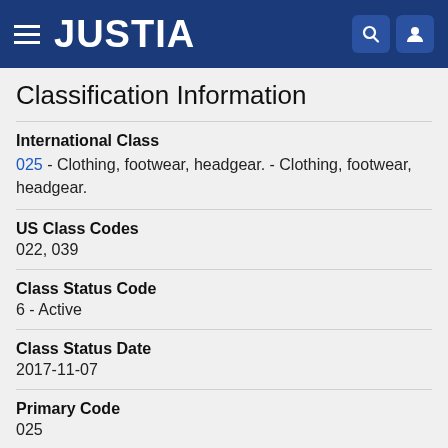JUSTIA
Classification Information
International Class
025 - Clothing, footwear, headgear. - Clothing, footwear, headgear.
US Class Codes
022, 039
Class Status Code
6 - Active
Class Status Date
2017-11-07
Primary Code
025